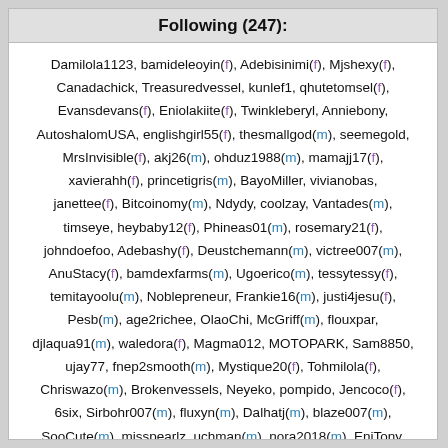Following (247):
Damilola1123, bamideleoyin(f), Adebisinimi(f), Mjshexy(f), Canadachick, Treasuredvessel, kunlef1, qhutetomsel(f), Evansdevans(f), Eniolakiite(f), Twinkleberyl, Anniebony, AutoshalomUSA, englishgirl55(f), thesmallgod(m), seemegold, MrsInvisible(f), akj26(m), ohduz1988(m), mamajj17(f), xavierahh(f), princetigris(m), BayoMiller, vivianobas, janettee(f), Bitcoinomy(m), Ndydy, coolzay, Vantades(m), timseye, heybaby12(f), Phineas01(m), rosemary21(f), johndoefoo, Adebashy(f), Deustchemann(m), victree007(m), AnuStacy(f), bamdexfarms(m), Ugoerico(m), tessytessy(f), temitayoolu(m), Noblepreneur, Frankie16(m), justi4jesu(f), Pesb(m), age2richee, OlaoChi, McGriff(m), flouxpar, djlaqua91(m), waledora(f), Magma012, MOTOPARK, Sam8850, ujay77, fnep2smooth(m), Mystique20(f), Tohmilola(f), Chriswazo(m), Brokenvessels, Neyeko, pompido, Jencoco(f), 6six, Sirbohr007(m), fluxyn(m), Dalhatj(m), blaze007(m), SooCute(m), misspearlz, uchman(m), nora2018(m), EniTony, Ifylin88(f), Gimporters, Oluwadamilare99, Deo1986(m), delojames(m), KendrickAvomide, unkay, delnaz